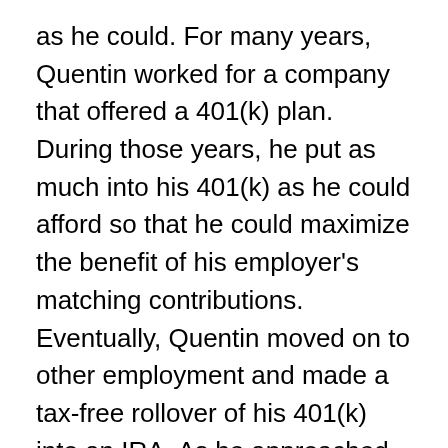as he could. For many years, Quentin worked for a company that offered a 401(k) plan. During those years, he put as much into his 401(k) as he could afford so that he could maximize the benefit of his employer's matching contributions. Eventually, Quentin moved on to other employment and made a tax-free rollover of his 401(k) into an IRA. As he approached retirement, Quentin continued to contribute to his retirement savings by maxing out his IRA contributions each year.
With his lifelong penchant for saving